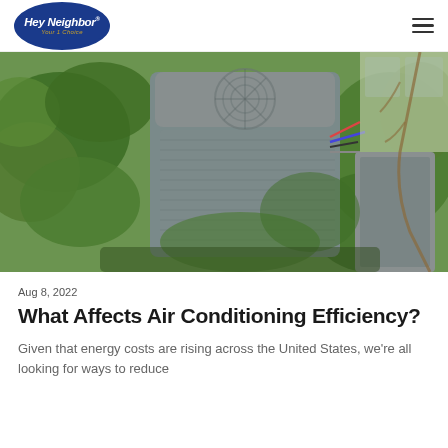[Figure (logo): Hey Neighbor Your 1 Choice logo — white italic text on dark blue oval with gold tagline]
[Figure (photo): Outdoor HVAC air conditioning unit surrounded by green ivy and shrubs, viewed from above at an angle]
Aug 8, 2022
What Affects Air Conditioning Efficiency?
Given that energy costs are rising across the United States, we're all looking for ways to reduce